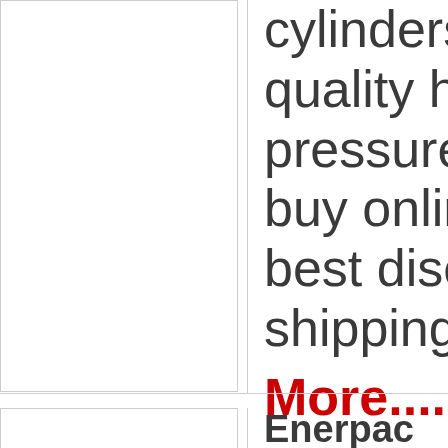[Figure (other): Product image placeholder box (top left, empty white box with border)]
cylinders a quality hyd pressure h buy online best disco shipping tc More....
[Figure (other): Product image placeholder box (bottom left, empty white box with border)]
Enerpac